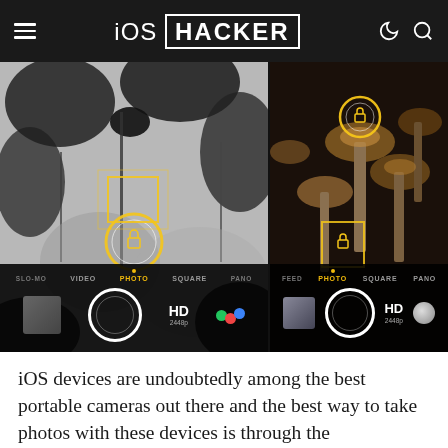iOS HACKER
[Figure (screenshot): Two side-by-side camera app screenshots showing focus reticles on a black-and-white flower scene and a mushroom scene, with camera mode bars at the bottom showing PHOTO selected, shutter buttons, HD 2448p labels, and color/BW icons.]
iOS devices are undoubtedly among the best portable cameras out there and the best way to take photos with these devices is through the stock camera application. While the stock camera application of iOS lacks many features